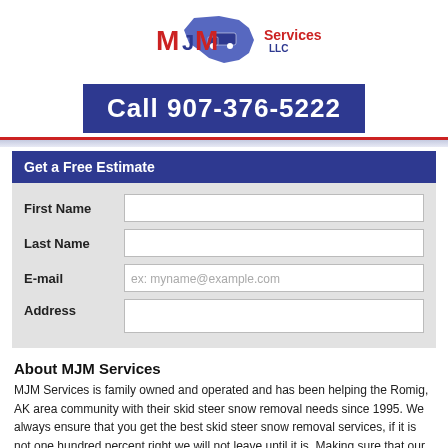[Figure (logo): MJM Services LLC logo with Alaska state silhouette and truck graphic]
Call 907-376-5222
Get a Free Estimate
First Name
Last Name
E-mail
Address
About MJM Services
MJM Services is family owned and operated and has been helping the Romig, AK area community with their skid steer snow removal needs since 1995. We always ensure that you get the best skid steer snow removal services, if it is not one hundred percent right we will not leave until it is. Making sure that our clients not only get the best service but also the fairest price is our top priority. If you need assistance with any skid steer snow removal needs in the Romig, AK area, please call MJM